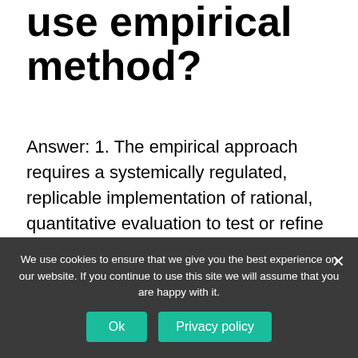use empirical method?
Answer: 1. The empirical approach requires a systemically regulated, replicable implementation of rational, quantitative evaluation to test or refine a hypothesis. We don't use the scientific/empirical approach in the history.
Is empirical evidence
We use cookies to ensure that we give you the best experience on our website. If you continue to use this site we will assume that you are happy with it.